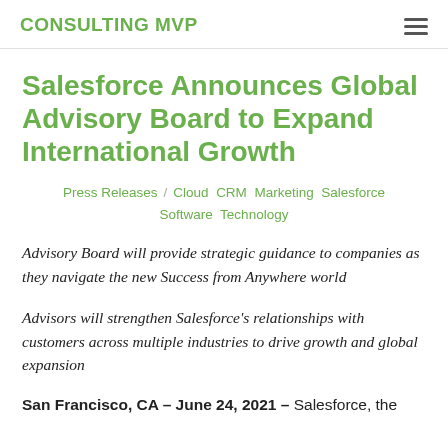CONSULTING MVP
Salesforce Announces Global Advisory Board to Expand International Growth
Press Releases / Cloud, CRM, Marketing, Salesforce, Software, Technology
Advisory Board will provide strategic guidance to companies as they navigate the new Success from Anywhere world
Advisors will strengthen Salesforce’s relationships with customers across multiple industries to drive growth and global expansion
San Francisco, CA – June 24, 2021 – Salesforce, the